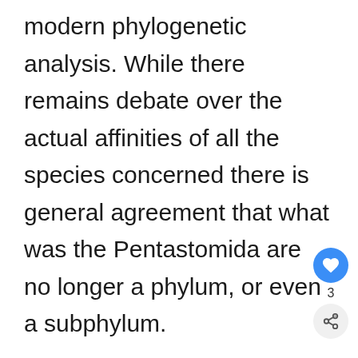modern phylogenetic analysis. While there remains debate over the actual affinities of all the species concerned there is general agreement that what was the Pentastomida are no longer a phylum, or even a subphylum.
There is general agreement